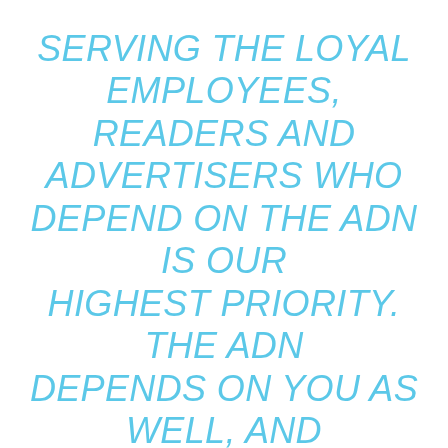SERVING THE LOYAL EMPLOYEES, READERS AND ADVERTISERS WHO DEPEND ON THE ADN IS OUR HIGHEST PRIORITY. THE ADN DEPENDS ON YOU AS WELL, AND YOUR SUPPORT IS ITS GREATEST ASSET MOVING FORWARD.
THE ADN WILL CONTINUE ITS COMMITMENT TO PUBLISH IMPORTANT AND RELEVANT NEWS THAT OUR READERS EXPECT. THE PEOPLE OF ALASKA AND ANCHORAGE WILL HAVE AN AWARD-